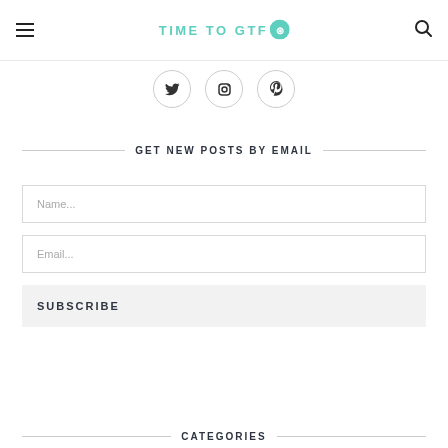TIME TO GTFO
[Figure (infographic): Social media icons row: Twitter bird, Instagram camera, Pinterest P — each in a circle]
GET NEW POSTS BY EMAIL
Name...
Email...
SUBSCRIBE
CATEGORIES